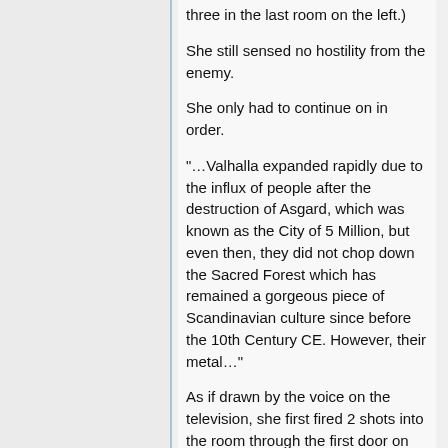three in the last room on the left.)
She still sensed no hostility from the enemy.
She only had to continue on in order.
“…Valhalla expanded rapidly due to the influx of people after the destruction of Asgard, which was known as the City of 5 Million, but even then, they did not chop down the Sacred Forest which has remained a gorgeous piece of Scandinavian culture since before the 10th Century CE. However, their metal…”
As if drawn by the voice on the television, she first fired 2 shots into the room through the first door on the right. That took care of the man in a camouflaged uniform looking through a pinup magazine with his feet on the